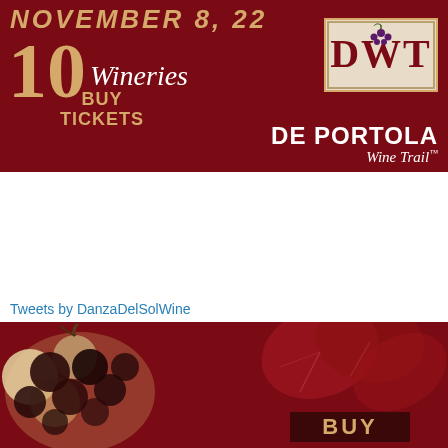[Figure (illustration): De Portola Wine Trail advertisement banner with dark red background, showing 'NOVEMBER 8, 22', '10 Wineries', 'BUY TICKETS', and DWT/De Portola Wine Trail logo in tan/gold and white text]
[Figure (illustration): Green banner with white and red bold text reading 'THE PASSPORT BLOG']
Tweets by DanzaDelSolWine
[Figure (illustration): Bottom red banner with decorative grape cluster and vine leaf graphics, with 'BUY' text partially visible at bottom right]